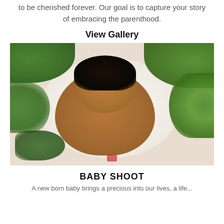to be cherished forever. Our goal is to capture your story of embracing the parenthood.
View Gallery
[Figure (photo): A smiling baby lying on a white fluffy blanket surrounded by green ivy leaves, wearing a diaper, photographed from above in a studio setting.]
BABY SHOOT
A new born baby brings a precious into our lives, a life...